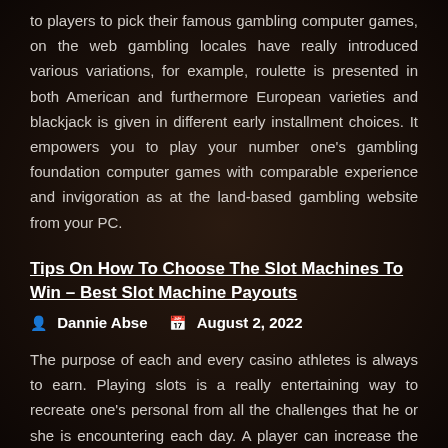to players to pick their famous gambling computer games, on the web gambling locales have really introduced various variations, for example, roulette is presented in both American and furthermore European varieties and blackjack is given in different early installment choices. It empowers you to play your number one's gambling foundation computer games with comparable experience and invigoration as at the land-based gambling website from your PC.
Tips On How To Choose The Slot Machines To Win – Best Slot Machine Payouts
Dannie Abse   August 2, 2022
The purpose of each and every casino athletes is always to earn. Playing slots is a really entertaining way to recreate one's personal from all the challenges that he or she is encountering each day. A player can increase the positive desires pay attention to a win in a number of